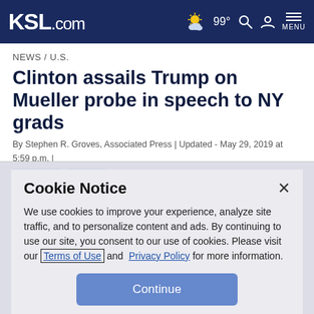KSL.com | 99° | MENU
NEWS / U.S.
Clinton assails Trump on Mueller probe in speech to NY grads
By Stephen R. Groves, Associated Press | Updated - May 29, 2019 at 5:59 p.m. | Posted - May 29, 2019 at 5:06 p.m.
Cookie Notice
We use cookies to improve your experience, analyze site traffic, and to personalize content and ads. By continuing to use our site, you consent to our use of cookies. Please visit our Terms of Use and Privacy Policy for more information.
Continue